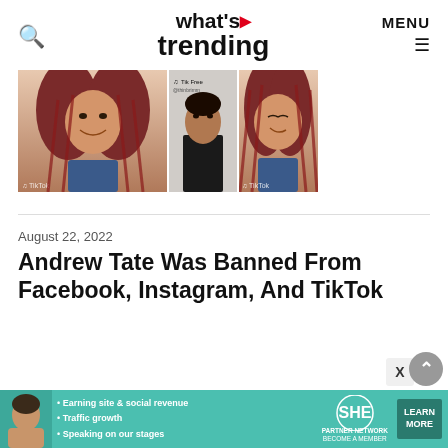what's trending
[Figure (screenshot): Three TikTok video screenshots side by side showing a woman with red braided hair and a man in a black t-shirt]
August 22, 2022
Andrew Tate Was Banned From Facebook, Instagram, And TikTok
[Figure (infographic): SHE Media Partner Network advertisement banner with avatar, bullet points about earning site & social revenue, traffic growth, speaking on stages, SHE logo, and Learn More button]